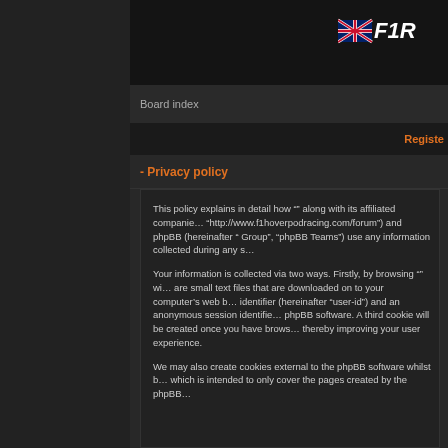[Figure (logo): UK flag icon and stylized text logo for F1 Hoverpod Racing forum in top right corner]
Board index
Register
- Privacy policy
This policy explains in detail how "" along with its affiliated companies (hereinafter "http://www.f1hoverpodracing.com/forum") and phpBB (hereinafter "Group", "phpBB Teams") use any information collected during any s
Your information is collected via two ways. Firstly, by browsing "" will create a number of cookies, which are small text files that are downloaded on to your computer's web browser temporary files. The first two cookies just contain a user identifier (hereinafter "user-id") and an anonymous session identifier, automatically assigned to you by the phpBB software. A third cookie will be created once you have browsed topics within "" and is used to store which topics have been read, thereby improving your user experience.
We may also create cookies external to the phpBB software whilst browsing "", though these are outside the scope of this document which is intended to only cover the pages created by the phpBB